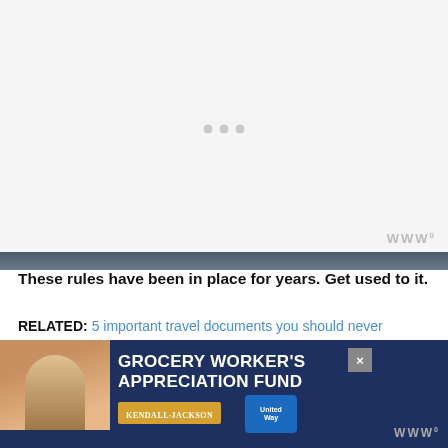[Figure (other): Video player placeholder area with loading spinner dots and watermark logo in bottom right corner]
These rules have been in place for years. Get used to it.
RELATED: 5 important travel documents you should never leave home without
[Figure (photo): Advertisement banner: Grocery Worker's Appreciation Fund with Kendall Jackson and United Way logos, featuring image of grocery worker]